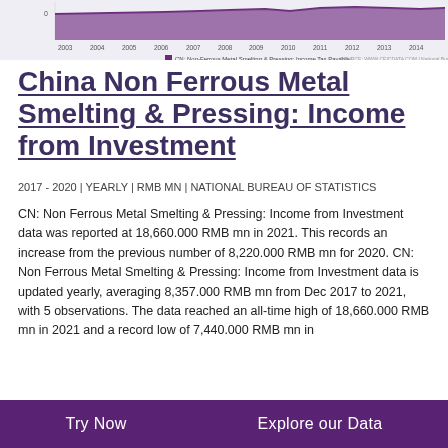[Figure (line-chart): Line chart showing CN: Non Ferrous Metal Smelting & Pressing: Income Tax Payable from 2003 to 2014]
China Non Ferrous Metal Smelting & Pressing: Income from Investment
2017 - 2020 | YEARLY | RMB MN | NATIONAL BUREAU OF STATISTICS
CN: Non Ferrous Metal Smelting & Pressing: Income from Investment data was reported at 18,660.000 RMB mn in 2021. This records an increase from the previous number of 8,220.000 RMB mn for 2020. CN: Non Ferrous Metal Smelting & Pressing: Income from Investment data is updated yearly, averaging 8,357.000 RMB mn from Dec 2017 to 2021, with 5 observations. The data reached an all-time high of 18,660.000 RMB mn in 2021 and a record low of 7,440.000 RMB mn in
Try Now   Explore our Data